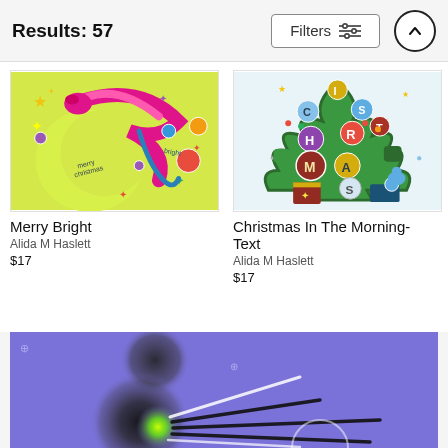Results: 57
Filters
[Figure (illustration): Colorful Christmas illustration with crescent moon, bird, stars, and 'merry bright christmas' text on yellow/green background]
Merry Bright
Alida M Haslett
$17
[Figure (illustration): Christmas tree decorated with ornaments spelling CHRISTMAS with various colored circles and shapes]
Christmas In The Morning- Text
Alida M Haslett
$17
[Figure (illustration): Abstract purple background with two dark fuzzy circular shapes and diagonal lines, with a bright green glowing center]